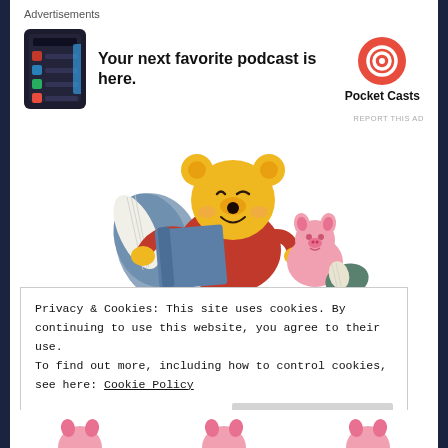Advertisements
[Figure (screenshot): Pocket Casts advertisement banner showing a dark-themed phone screenshot with the text 'Your next favorite podcast is here.' and the Pocket Casts logo on the right.]
[Figure (illustration): Cartoon illustration of Winnie the Pooh in a red shirt reading a blue book, with Piglet beside him also looking at a book.]
Privacy & Cookies: This site uses cookies. By continuing to use this website, you agree to their use.
To find out more, including how to control cookies, see here: Cookie Policy
[Figure (illustration): Partial view of Piglet cartoon illustrations at the bottom of the page.]